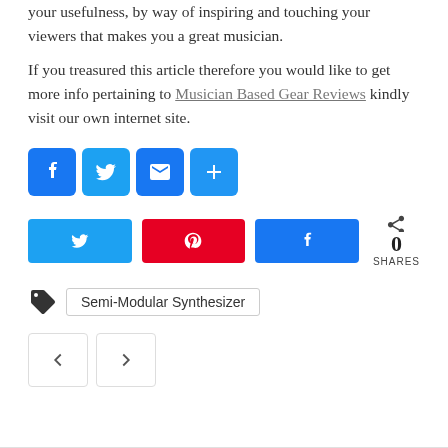your usefulness, by way of inspiring and touching your viewers that makes you a great musician.
If you treasured this article therefore you would like to get more info pertaining to Musician Based Gear Reviews kindly visit our own internet site.
[Figure (infographic): Social share icon buttons row: Facebook (blue), Twitter (light blue), Email (blue), Plus/More (blue)]
[Figure (infographic): Social share buttons row: Twitter (light blue), Pinterest (red), Facebook (dark blue), and share count showing 0 SHARES]
[Figure (infographic): Tag icon with label 'Semi-Modular Synthesizer']
[Figure (infographic): Navigation buttons: left arrow and right arrow]